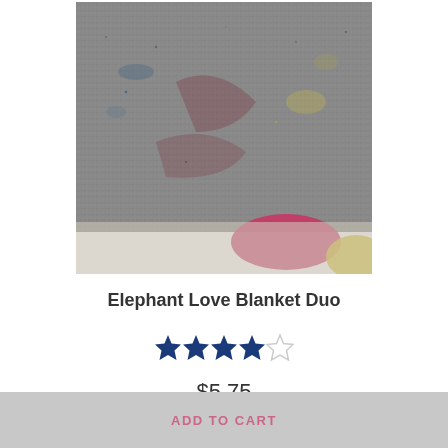[Figure (photo): Close-up photo of a knit blanket with gray texture and colorful pattern elements including pink, yellow, and blue areas visible, partially rolled or folded.]
Elephant Love Blanket Duo
[Figure (other): 4 out of 5 stars rating displayed as dark blue filled stars with one empty/outline star]
$5.75
ADD TO CART